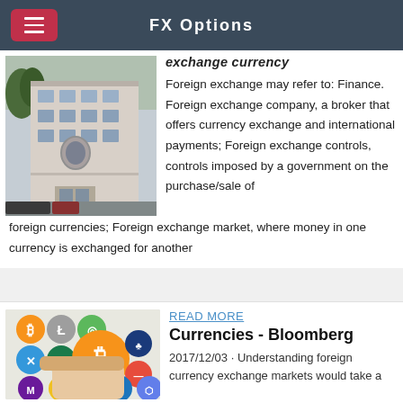FX Options
[Figure (photo): Exterior photo of a white multi-story building, appears to be a financial institution or office building]
Foreign exchange may refer to: Finance. Foreign exchange company, a broker that offers currency exchange and international payments; Foreign exchange controls, controls imposed by a government on the purchase/sale of foreign currencies; Foreign exchange market, where money in one currency is exchanged for another
[Figure (photo): Image showing multiple cryptocurrency coin logos including Bitcoin and others, with hands holding a Bitcoin coin]
READ MORE
Currencies - Bloomberg
2017/12/03 · Understanding foreign currency exchange markets would take a minute today to roll things back a bit and make sure we are all on the same page regarding the origins of currency, foreign